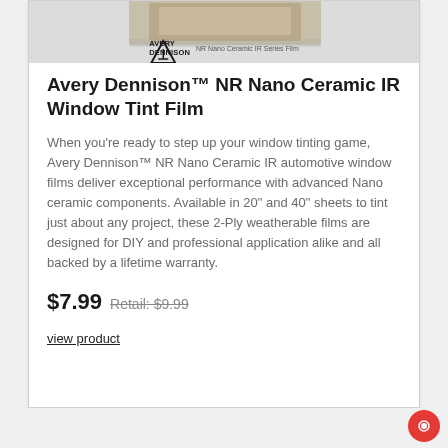[Figure (photo): Product image of Avery Dennison NR Nano Ceramic IR Series Film roll/box, partially visible at top. Below the image, the Avery Dennison logo (triangle/A icon) with brand name and 'NR Nano Ceramic IR Series Film' tagline.]
Avery Dennison™ NR Nano Ceramic IR Window Tint Film
When you're ready to step up your window tinting game, Avery Dennison™ NR Nano Ceramic IR automotive window films deliver exceptional performance with advanced Nano ceramic components. Available in 20" and 40" sheets to tint just about any project, these 2-Ply weatherable films are designed for DIY and professional application alike and all backed by a lifetime warranty.
$7.99 Retail: $9.99
view product